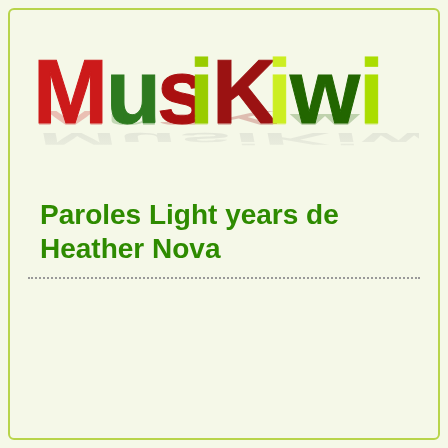[Figure (logo): MusiKiwi logo with colorful chunky letters - M in red, u in green, s in dark red, i in yellow-green with dot, K in dark red, i in yellow-green, w in dark green, i in yellow-green. Reflective shadow below letters on light background.]
Paroles Light years de Heather Nova